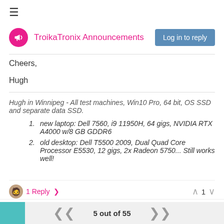≡
TroikaTronix Announcements
Cheers,
Hugh
Hugh in Winnipeg - All test machines, Win10 Pro, 64 bit, OS SSD and separate data SSD.
new laptop: Dell 7560, i9 11950H, 64 gigs, NVIDIA RTX A4000 w/8 GB GDDR6
old desktop: Dell T5500 2009, Dual Quad Core Processor E5530, 12 gigs, 2x Radeon 5750... Still works well!
1 Reply ›  ∧ 1 ∨
Woland  TECH STAFF  Jun 4, 2019, 4:33 PM
@citizenjoe said:
5 out of 55